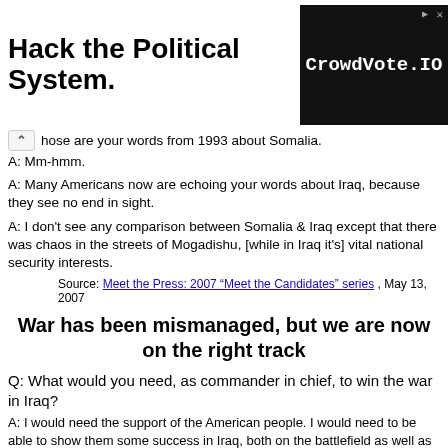[Figure (other): Advertisement banner: left side reads 'Hack the Political System.' in large bold text; right side shows black box with 'CrowdVote.IO' in white monospace text]
hose are your words from 1993 about Somalia.
A: Mm-hmm.
A: Many Americans now are echoing your words about Iraq, because they see no end in sight.
A: I don't see any comparison between Somalia & Iraq except that there was chaos in the streets of Mogadishu, [while in Iraq it's] vital national security interests.
Source: Meet the Press: 2007 "Meet the Candidates" series , May 13, 2007
War has been mismanaged, but we are now on the right track
Q: What would you need, as commander in chief, to win the war in Iraq?
A: I would need the support of the American people. I would need to be able to show them some success in Iraq, both on the battlefield as well as with the government. We have a new general; we have a new strategy. That strategy can succeed. But when the majority leader of the US Senate says we've lost the war, then who won? Did al Qaeda win? When on the floor of the House of Representatives they cheer--they cheer!--when they pass a withdrawal motion that is a certain date for surrender, what were they cheering? Surrender? Defeat? We must win in Iraq. If we withdraw, there will be chaos; there will be genocide; and